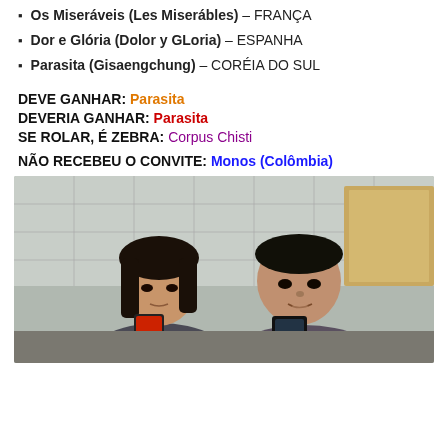Os Miseráveis (Les Miserábles) – FRANÇA
Dor e Glória (Dolor y GLoria) – ESPANHA
Parasita (Gisaengchung) – CORÉIA DO SUL
DEVE GANHAR: Parasita
DEVERIA GANHAR: Parasita
SE ROLAR, É ZEBRA: Corpus Chisti
NÃO RECEBEU O CONVITE: Monos (Colômbia)
[Figure (photo): Two young Asian people looking at smartphones in a tiled room, scene from the film Parasita (Parasite)]